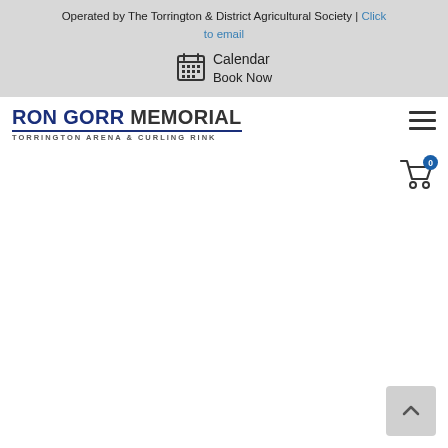Operated by The Torrington & District Agricultural Society | Click to email
Calendar
Book Now
[Figure (logo): Ron Gorr Memorial Torrington Arena & Curling Rink logo with blue and dark text and horizontal rule]
[Figure (other): Hamburger menu icon (three horizontal lines)]
[Figure (other): Shopping cart icon with badge showing 0]
[Figure (other): Scroll-to-top button with upward chevron arrow]